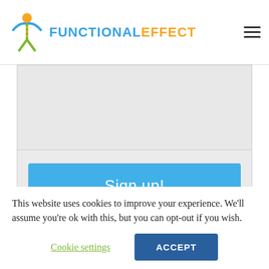[Figure (logo): Functional Effect logo with stylized human figure icon in blue/orange/yellow and text 'FUNCTIONALEFFECT' in blue and orange]
Sign up!
ESTABLISHED PATIENTS
This website uses cookies to improve your experience. We'll assume you're ok with this, but you can opt-out if you wish.
Cookie settings
ACCEPT